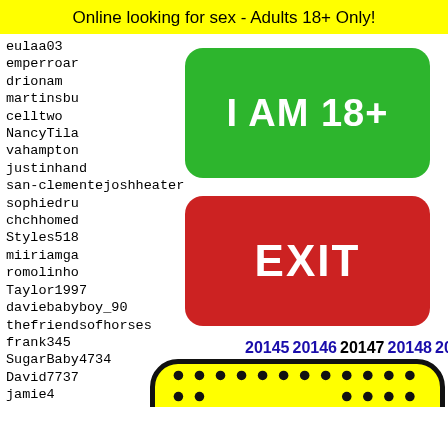Online looking for sex - Adults 18+ Only!
eulaa03
emperroar
drionam
martinsburg
celltwo
NancyTila
vahampton
justinhand
san-clementejoshheater
sophiedru
chchhomed
Styles518
miiriamga
romolinho
Taylor1997
daviebabyboy_90
thefriendsofhorses
frank345
SugarBaby4734
David7737
jamie4
Speech
jerkwo
Oct258
itz_bl
BBB243
[Figure (other): Green button with text I AM 18+]
[Figure (other): Red button with text EXIT]
20145 20146 20147 20148 20149
[Figure (illustration): Snapchat ghost logo on yellow background with black border, showing dotted pattern and ghost face]